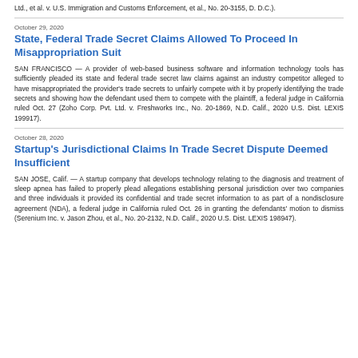Ltd., et al. v. U.S. Immigration and Customs Enforcement, et al., No. 20-3155, D. D.C.).
October 29, 2020
State, Federal Trade Secret Claims Allowed To Proceed In Misappropriation Suit
SAN FRANCISCO — A provider of web-based business software and information technology tools has sufficiently pleaded its state and federal trade secret law claims against an industry competitor alleged to have misappropriated the provider's trade secrets to unfairly compete with it by properly identifying the trade secrets and showing how the defendant used them to compete with the plaintiff, a federal judge in California ruled Oct. 27 (Zoho Corp. Pvt. Ltd. v. Freshworks Inc., No. 20-1869, N.D. Calif., 2020 U.S. Dist. LEXIS 199917).
October 28, 2020
Startup's Jurisdictional Claims In Trade Secret Dispute Deemed Insufficient
SAN JOSE, Calif. — A startup company that develops technology relating to the diagnosis and treatment of sleep apnea has failed to properly plead allegations establishing personal jurisdiction over two companies and three individuals it provided its confidential and trade secret information to as part of a nondisclosure agreement (NDA), a federal judge in California ruled Oct. 26 in granting the defendants' motion to dismiss (Serenium Inc. v. Jason Zhou, et al., No. 20-2132, N.D. Calif., 2020 U.S. Dist. LEXIS 198947).